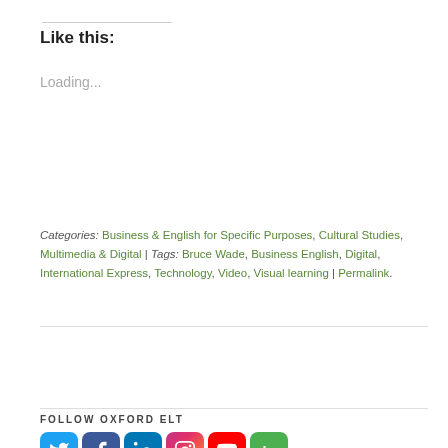Like this:
Loading...
Categories: Business & English for Specific Purposes, Cultural Studies, Multimedia & Digital | Tags: Bruce Wade, Business English, Digital, International Express, Technology, Video, Visual learning | Permalink.
FOLLOW OXFORD ELT
[Figure (infographic): Social media icons: Twitter (blue bird), Facebook (blue f), LinkedIn (blue in), Instagram (gradient camera), YouTube (red play), Blog (green b)]